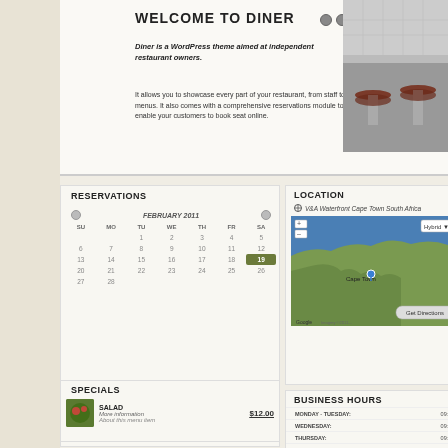WELCOME TO DINER
Diner is a WordPress theme aimed at independent restaurant owners.
It allows you to showcase every part of your restaurant, from staff to menus. It also comes with a comprehensive reservations module to enable your customers to book seat online.
[Figure (photo): Black and white photo of diner bar stools]
RESERVATIONS
[Figure (other): Calendar for February 2011 with date 19 highlighted]
PEOPLE: 1  TIME: 09:00 AM
Saturday, February 19th at 09:00 for a party of 1
Reserve Table
SPECIALS
SALAD  More information  $12.00
LOCATION
V&A Waterfront Cape Town South Africa
[Figure (map): Google Maps showing Cape Town, South Africa with location pin]
BUSINESS HOURS
| Day | Hours |
| --- | --- |
| MONDAY - TUESDAY: | 09:00 - 20:00 |
| WEDNESDAY: | 09:00 - 18:00 |
| THURSDAY: | 09:00 - 21:00 |
| FRIDAY - SATURDAY: | 09:00 - 23:00 |
| SUNDAY: | Closed |
MONTHLY SPECIAL
STAFF